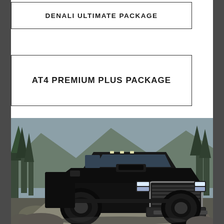DENALI ULTIMATE PACKAGE
AT4 PREMIUM PLUS PACKAGE
[Figure (photo): Black GMC Sierra heavy-duty pickup truck (AT4 or Denali trim) parked on a rocky mountain road surrounded by pine trees and mountains in the background.]